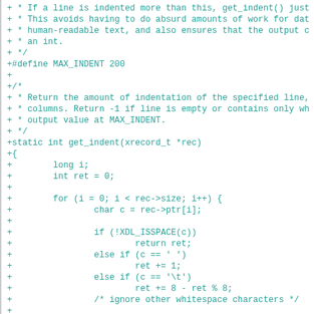[Figure (other): Diff/patch view of C source code showing additions to a file, displaying a get_indent() function implementation with MAX_INDENT define, in teal/cyan monospace font on white background.]